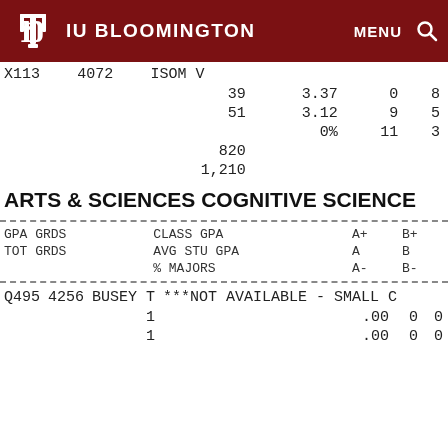IU BLOOMINGTON  MENU  🔍
| X113 | 4072 | ISOM V |  |  |  |  |
|  |  | 39 | 3.37 | 0 | 8 |  |
|  |  | 51 | 3.12 | 9 | 5 |  |
|  |  |  | 0% | 11 | 3 |  |
|  |  | 820 |  |  |  |  |
|  |  | 1,210 |  |  |  |  |
ARTS & SCIENCES COGNITIVE SCIENCE
| GPA GRDS | CLASS GPA | A+ | B+ | TOT GRDS | AVG STU GPA | A | B | % MAJORS | A- | B- |
| --- | --- | --- | --- | --- | --- | --- | --- | --- | --- | --- |
| Q495 | 4256 | BUSEY T | ***NOT AVAILABLE - SMALL C |
|  |  | 1 | .00 | 0 | 0 |
|  |  | 1 | .00 | 0 | 0 |